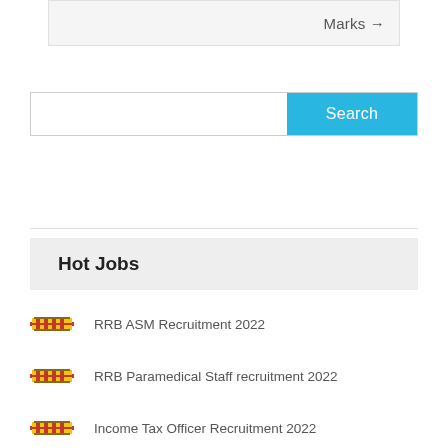Marks →
[Figure (screenshot): Search bar with blue Search button]
Hot Jobs
RRB ASM Recruitment 2022
RRB Paramedical Staff recruitment 2022
Income Tax Officer Recruitment 2022